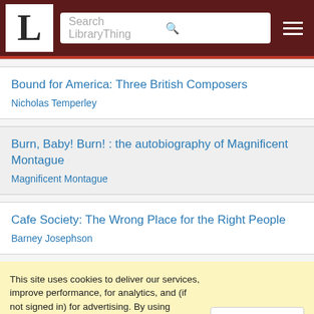LibraryThing - Search LibraryThing
Bound for America: Three British Composers
Nicholas Temperley
Burn, Baby! Burn! : the autobiography of Magnificent Montague
Magnificent Montague
Cafe Society: The Wrong Place for the Right People
Barney Josephson
This site uses cookies to deliver our services, improve performance, for analytics, and (if not signed in) for advertising. By using LibraryThing you acknowledge that you have read and understand our Terms of Service and Privacy Policy. Your use of the site and services is subject to these policies and terms.